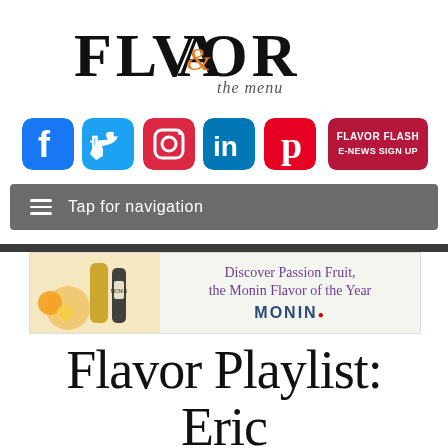[Figure (logo): FLAVOR & the menu logo with stylized ampersand in orange]
[Figure (infographic): Row of social media icons: Facebook, Twitter, Instagram, LinkedIn, Pinterest, and FLAVOR FLASH E-NEWS SIGN UP button]
Tap for navigation
[Figure (other): Monin advertisement banner: Discover Passion Fruit, the Monin Flavor of the Year]
Flavor Playlist: Eric